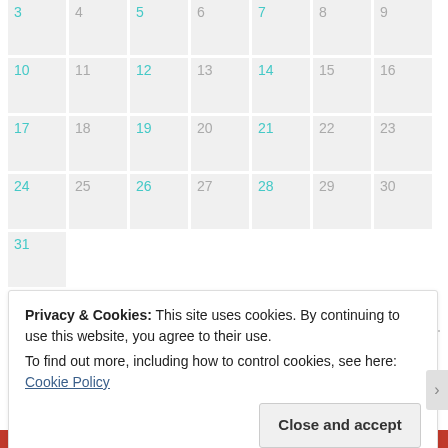| 3 | 4 | 5 | 6 | 7 | 8 | 9 |
| 10 | 11 | 12 | 13 | 14 | 15 | 16 |
| 17 | 18 | 19 | 20 | 21 | 22 | 23 |
| 24 | 25 | 26 | 27 | 28 | 29 | 30 |
| 31 |  |  |  |  |  |  |
« Jul   Sep »
ARCHIVES
Privacy & Cookies: This site uses cookies. By continuing to use this website, you agree to their use.
To find out more, including how to control cookies, see here: Cookie Policy
Close and accept